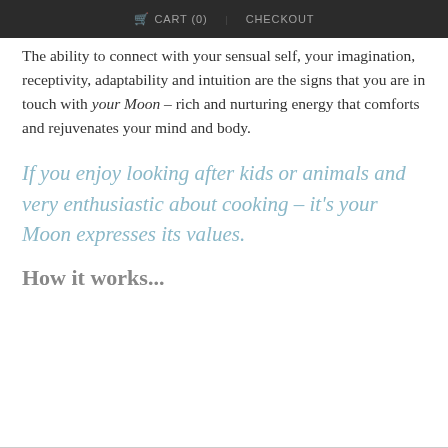🛒 CART (0)   CHECKOUT
The ability to connect with your sensual self, your imagination, receptivity, adaptability and intuition are the signs that you are in touch with your Moon – rich and nurturing energy that comforts and rejuvenates your mind and body.
If you enjoy looking after kids or animals and very enthusiastic about cooking – it's your Moon expresses its values.
How it works...